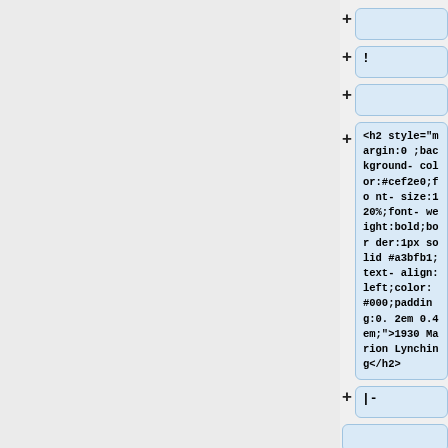[Figure (screenshot): A UI tree/editor panel showing a left gray panel and right panel with collapsible tree nodes. Several collapsed nodes (shown as + buttons with empty blue boxes) and one expanded node showing HTML code: <h2 style="margin:0;background-color:#cef2e0;font-size:120%;font-weight:bold;border:1px solid #a3bfb1;text-align:left;color:#000;padding:0.2em 0.4em;">1930 Marion Lynching</h2>. A node below shows '|-' text. Another partially visible node at the bottom.]